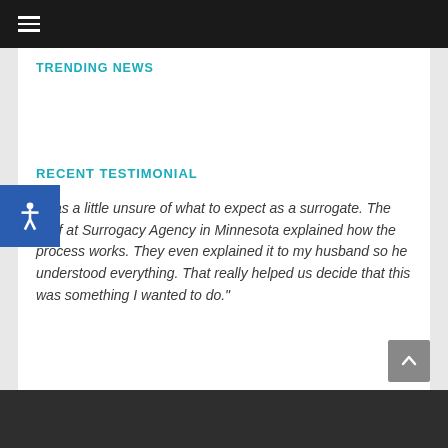≡ (hamburger menu)
TRENDING NEWS
RECENT TESTIMONIAL
I was a little unsure of what to expect as a surrogate. The staff at Surrogacy Agency in Minnesota explained how the process works. They even explained it to my husband so he understood everything. That really helped us decide that this was something I wanted to do."